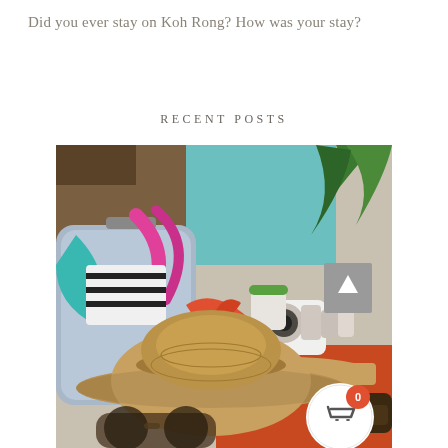Did you ever stay on Koh Rong? How was your stay?
RECENT POSTS
[Figure (photo): Travel flat lay photo showing an open suitcase with colorful swimwear and clothing, a straw sun hat in the foreground, sunglasses, a camera, a green-lidded cup, and an orange fabric on a wooden surface, with a teal wall and tropical plant in the background. A grey back-to-top button with an upward arrow chevron is overlaid at the right side. A white circular cart button with a shopping cart icon and red badge showing '0' is overlaid at the bottom right.]